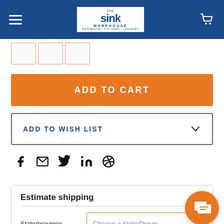The Sink Warehouse - BATHROOM KITCHEN LAUNDRY
[Figure (screenshot): Three small product thumbnail images with orange borders]
ADD TO CART
ADD TO WISH LIST
[Figure (infographic): Social sharing icons: Facebook, Email, Twitter, LinkedIn, Pinterest]
Estimate shipping
State/province
Choose a State/Province
Zip/postal code*
Zip/postal code